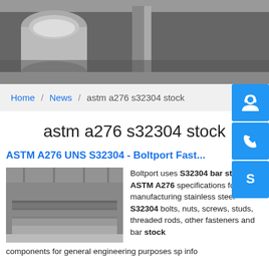[Figure (photo): Industrial steel plates/cylinders in a warehouse setting, hero image at top of page]
Home / News / astm a276 s32304 stock
astm a276 s32304 stock
ASTM A276 UNS S32304 - Boltport Fast...
[Figure (photo): Stainless steel plates stacked in an industrial warehouse]
Boltport uses S32304 bar stock to ASTM A276 specifications for manufacturing stainless steel S32304 bolts, nuts, screws, studs, threaded rods, other fasteners and bar stock components for general engineering purposes sp info
components for general engineering purposes sp info